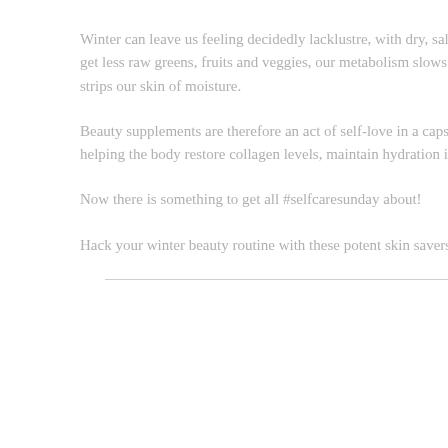Winter can leave us feeling decidedly lacklustre, with dry, sallow s get less raw greens, fruits and veggies, our metabolism slows dow strips our skin of moisture.
Beauty supplements are therefore an act of self-love in a capsule, helping the body restore collagen levels, maintain hydration in the
Now there is something to get all #selfcaresunday about!
Hack your winter beauty routine with these potent skin savers.